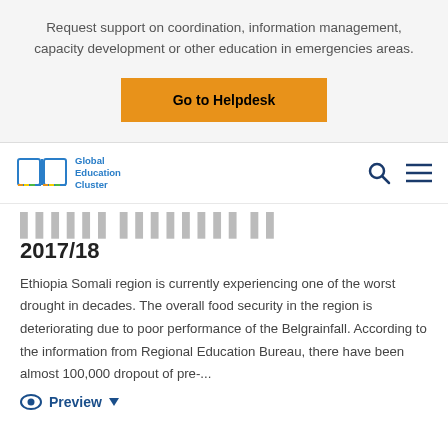Request support on coordination, information management, capacity development or other education in emergencies areas.
Go to Helpdesk
[Figure (logo): Global Education Cluster logo with open book icon and navigation search/menu icons]
2017/18
Ethiopia Somali region is currently experiencing one of the worst drought in decades. The overall food security in the region is deteriorating due to poor performance of the Belgrainfall. According to the information from Regional Education Bureau, there have been almost 100,000 dropout of pre-...
Preview